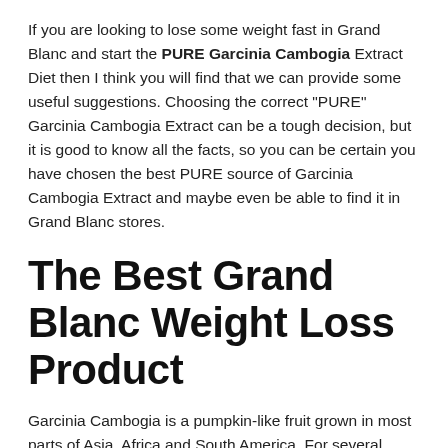If you are looking to lose some weight fast in Grand Blanc and start the PURE Garcinia Cambogia Extract Diet then I think you will find that we can provide some useful suggestions. Choosing the correct "PURE" Garcinia Cambogia Extract can be a tough decision, but it is good to know all the facts, so you can be certain you have chosen the best PURE source of Garcinia Cambogia Extract and maybe even be able to find it in Grand Blanc stores.
The Best Grand Blanc Weight Loss Product
Garcinia Cambogia is a pumpkin-like fruit grown in most parts of Asia, Africa and South America. For several decades, this nutritious fruit has been useful in the life of people who wish to shed some extra fats Fast! Prior to advancements in technology which have made extractions possible, this fruit was used as a spice in the preparation of local dishes because its aroma was said to reduce hunger pang intervals in humans. In some Asian countries such as Malaysia and Indonesia, this fruit was eaten raw for the same purpose. Though the working